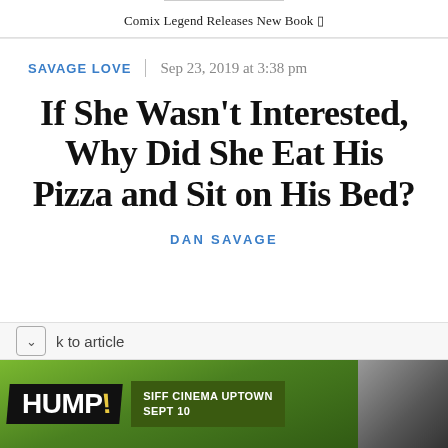Comix Legend Releases New Book □
SAVAGE LOVE
Sep 23, 2019 at 3:38 pm
If She Wasn't Interested, Why Did She Eat His Pizza and Sit on His Bed?
DAN SAVAGE
k to article
[Figure (photo): HUMP! advertisement banner with SIFF Cinema Uptown Sept 10 text on green background with person photo]